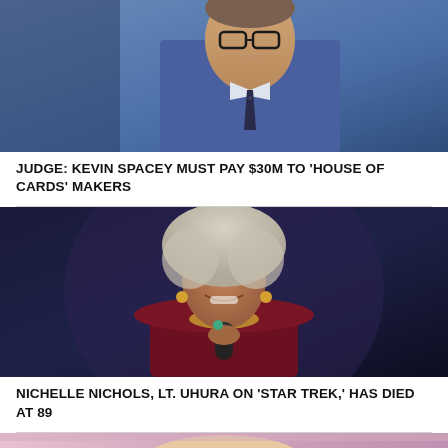[Figure (photo): Man in blue suit with glasses looking stern, appears to be Kevin Spacey]
JUDGE: KEVIN SPACEY MUST PAY $30M TO 'HOUSE OF CARDS' MAKERS
[Figure (photo): Elderly Black woman with white afro hair smiling and holding a microphone, wearing gold jewelry and dark red/maroon jacket — Nichelle Nichols]
NICHELLE NICHOLS, LT. UHURA ON ‘STAR TREK,’ HAS DIED AT 89
[Figure (photo): Partial view of a woman — third news story photo, partially visible at bottom]